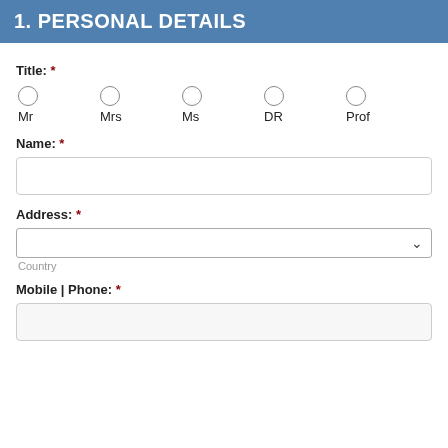1. PERSONAL DETAILS
Title: *
Mr
Mrs
Ms
DR
Prof
Name: *
Address: *
Country
Mobile | Phone: *